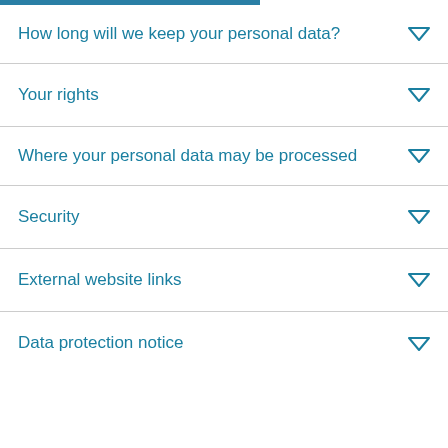How long will we keep your personal data?
Your rights
Where your personal data may be processed
Security
External website links
Data protection notice